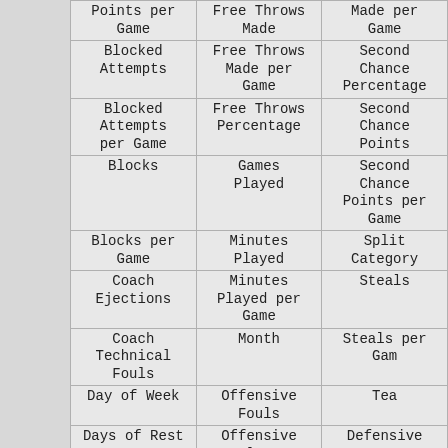| Column 1 | Column 2 | Column 3 |
| --- | --- | --- |
| Points per Game | Free Throws Made | Made per Game |
| Blocked Attempts | Free Throws Made per Game | Second Chance Percentage |
| Blocked Attempts per Game | Free Throws Percentage | Second Chance Points |
| Blocks | Games Played | Second Chance Points per Game |
| Blocks per Game | Minutes Played | Split Category |
| Coach Ejections | Minutes Played per Game | Steals |
| Coach Technical Fouls | Month | Steals per Game |
| Day of Week | Offensive Fouls | Team... |
| Days of Rest | Offensive Fouls per | Defensive |